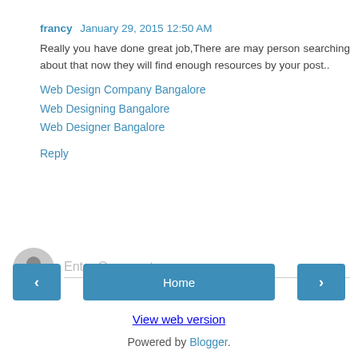francy  January 29, 2015 12:50 AM
Really you have done great job,There are may person searching about that now they will find enough resources by your post..
Web Design Company Bangalore
Web Designing Bangalore
Web Designer Bangalore
Reply
[Figure (other): User avatar placeholder icon (grey circle with person silhouette) next to an Enter Comment input field]
< Home >
View web version
Powered by Blogger.